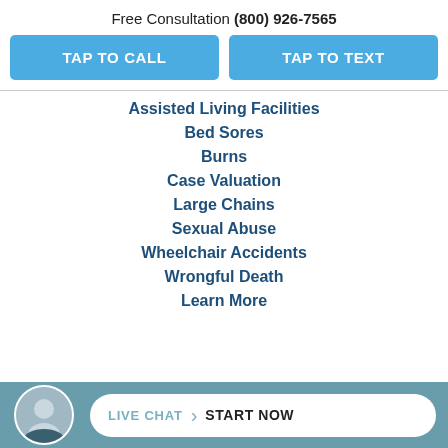Free Consultation (800) 926-7565
TAP TO CALL
TAP TO TEXT
Assisted Living Facilities
Bed Sores
Burns
Case Valuation
Large Chains
Sexual Abuse
Wheelchair Accidents
Wrongful Death
Learn More
LIVE CHAT START NOW